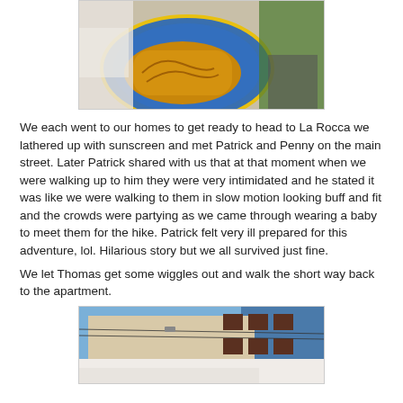[Figure (photo): A photo showing a pastry or bread on a decorative blue and yellow plate, with a person in a green shirt visible in the background.]
We each went to our homes to get ready to head to La Rocca we lathered up with sunscreen and met Patrick and Penny on the main street. Later Patrick shared with us that at that moment when we were walking up to him they were very intimidated and he stated it was like we were walking to them in slow motion looking buff and fit and the crowds were partying as we came through wearing a baby to meet them for the hike. Patrick felt very ill prepared for this adventure, lol. Hilarious story but we all survived just fine.
We let Thomas get some wiggles out and walk the short way back to the apartment.
[Figure (photo): A street-level photo of a building with shuttered windows and utility wires, with a white surface in the foreground.]